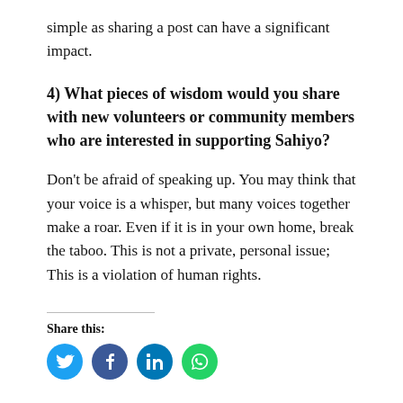simple as sharing a post can have a significant impact.
4) What pieces of wisdom would you share with new volunteers or community members who are interested in supporting Sahiyo?
Don't be afraid of speaking up. You may think that your voice is a whisper, but many voices together make a roar. Even if it is in your own home, break the taboo. This is not a private, personal issue; This is a violation of human rights.
Share this: